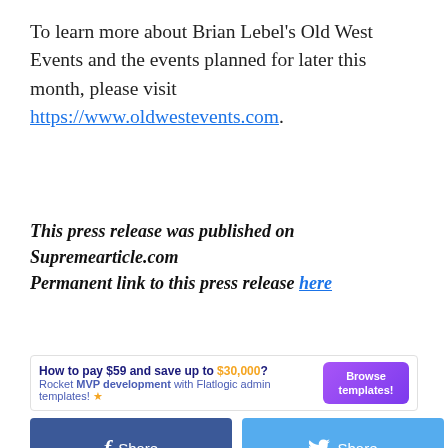To learn more about Brian Lebel's Old West Events and the events planned for later this month, please visit https://www.oldwestevents.com.
This press release was published on Supremearticle.com
Permanent link to this press release here
[Figure (infographic): Advertisement banner: 'How to pay $59 and save up to $30,000? Rocket MVP development with Flatlogic admin templates!' with a purple 'Browse templates!' button]
[Figure (infographic): Social share buttons: Facebook Share, Twitter Share, Copy Share, LinkedIn Share, and a red scroll-to-top button]